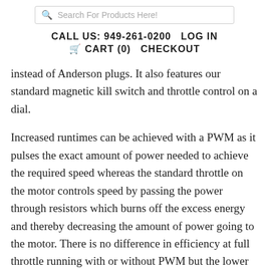Search For Products Here!
CALL US: 949-261-0200   LOG IN
🛒 CART (0)   CHECKOUT
instead of Anderson plugs. It also features our standard magnetic kill switch and throttle control on a dial.
Increased runtimes can be achieved with a PWM as it pulses the exact amount of power needed to achieve the required speed whereas the standard throttle on the motor controls speed by passing the power through resistors which burns off the excess energy and thereby decreasing the amount of power going to the motor. There is no difference in efficiency at full throttle running with or without PWM but the lower